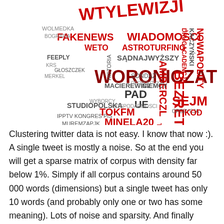[Figure (other): Word cloud in the shape of Poland map, featuring Polish words and hashtags in red, dark red, and black. Prominent words include WTYLEWIZJI, FAKENEWS, WIADOMOSCI, WORONICZAT7, ASTROTURFING, STUDIOPOLSKA, BEZRETUSZU, SEJM, MINELA20, TOKFM, PAD, UE, TRUMP, KOD, JPRL. Attribution: SZYMON LIS © 2017/10/21]
Clustering twitter data is not easy. I know that now :). A single tweet is mostly a noise. So at the end you will get a sparse matrix of corpus with density far below 1%. Simply if all corpus contains around 50 000 words (dimensions) but a single tweet has only 10 words (and probably only one or two has some meaning). Lots of noise and sparsity. And finally clustering like k-means put all tweets to one big cluster.